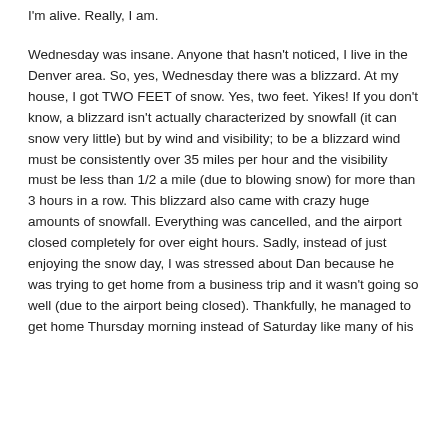I'm alive. Really, I am.
Wednesday was insane. Anyone that hasn't noticed, I live in the Denver area. So, yes, Wednesday there was a blizzard. At my house, I got TWO FEET of snow. Yes, two feet. Yikes! If you don't know, a blizzard isn't actually characterized by snowfall (it can snow very little) but by wind and visibility; to be a blizzard wind must be consistently over 35 miles per hour and the visibility must be less than 1/2 a mile (due to blowing snow) for more than 3 hours in a row. This blizzard also came with crazy huge amounts of snowfall. Everything was cancelled, and the airport closed completely for over eight hours. Sadly, instead of just enjoying the snow day, I was stressed about Dan because he was trying to get home from a business trip and it wasn't going so well (due to the airport being closed). Thankfully, he managed to get home Thursday morning instead of Saturday like many of his